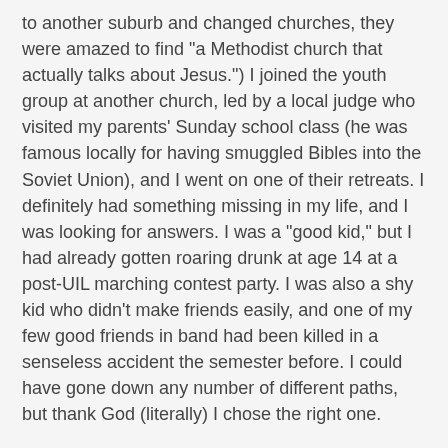to another suburb and changed churches, they were amazed to find "a Methodist church that actually talks about Jesus.") I joined the youth group at another church, led by a local judge who visited my parents' Sunday school class (he was famous locally for having smuggled Bibles into the Soviet Union), and I went on one of their retreats. I definitely had something missing in my life, and I was looking for answers. I was a "good kid," but I had already gotten roaring drunk at age 14 at a post-UIL marching contest party. I was also a shy kid who didn't make friends easily, and one of my few good friends in band had been killed in a senseless accident the semester before. I could have gone down any number of different paths, but thank God (literally) I chose the right one.
What got me about this new youth group was one of those things that's hard to describe. There was just something "different" about these people, and, looking back, I realize that it was the fact that their hearts had been changed by letting God into them. I can't tell you for sure that I was thinking with my heart that day when I made my decision, but I know that my heart, and my life, was changed over time.